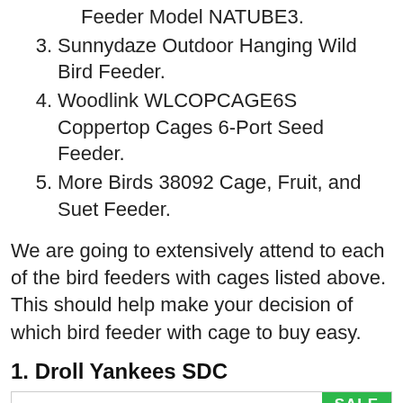Feeder Model NATUBE3.
3. Sunnydaze Outdoor Hanging Wild Bird Feeder.
4. Woodlink WLCOPCAGE6S Coppertop Cages 6-Port Seed Feeder.
5. More Birds 38092 Cage, Fruit, and Suet Feeder.
We are going to extensively attend to each of the bird feeders with cages listed above. This should help make your decision of which bird feeder with cage to buy easy.
1. Droll Yankees SDC
[Figure (photo): Product image box with a SALE badge in green in the top right corner. A partial arc/circle shape is visible in the center of the image area, suggesting a loading or placeholder image.]